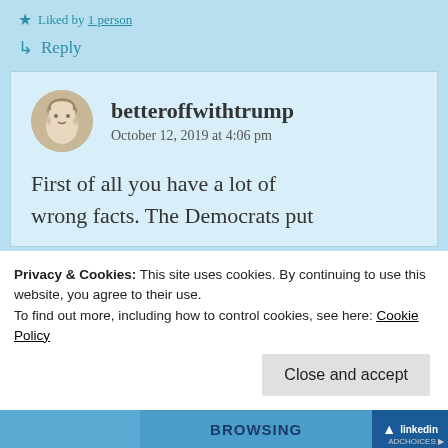★ Liked by 1 person
↳ Reply
betteroffwithtrump
October 12, 2019 at 4:06 pm
First of all you have a lot of wrong facts. The Democrats put
Privacy & Cookies: This site uses cookies. By continuing to use this website, you agree to their use.
To find out more, including how to control cookies, see here: Cookie Policy
Close and accept